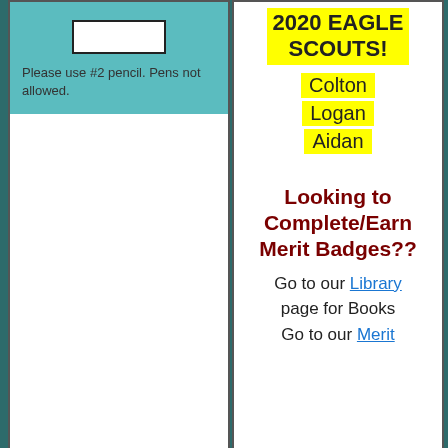[Figure (illustration): Answer sheet input box on teal background]
Please use #2 pencil. Pens not allowed.
2020 EAGLE SCOUTS!
Colton
Logan
Aidan
Looking to Complete/Earn Merit Badges??
Go to our Library page for Books Go to our Merit